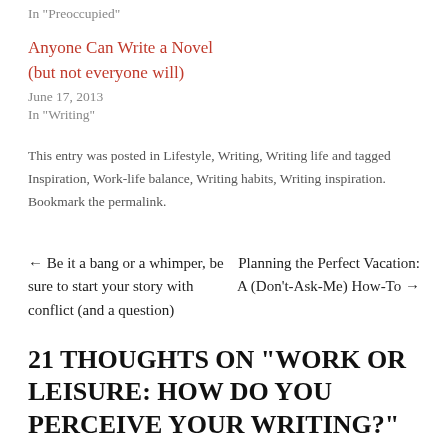In "Preoccupied"
Anyone Can Write a Novel (but not everyone will)
June 17, 2013
In "Writing"
This entry was posted in Lifestyle, Writing, Writing life and tagged Inspiration, Work-life balance, Writing habits, Writing inspiration. Bookmark the permalink.
← Be it a bang or a whimper, be sure to start your story with conflict (and a question)
Planning the Perfect Vacation: A (Don't-Ask-Me) How-To →
21 THOUGHTS ON "WORK OR LEISURE: HOW DO YOU PERCEIVE YOUR WRITING?"